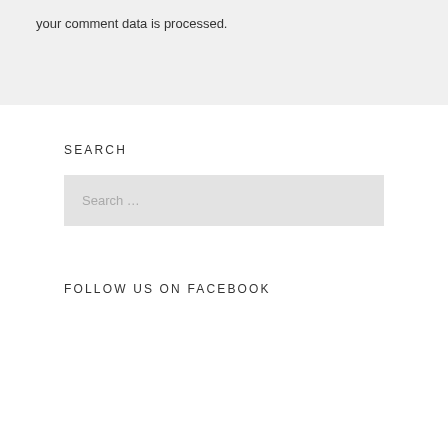your comment data is processed.
SEARCH
Search …
FOLLOW US ON FACEBOOK